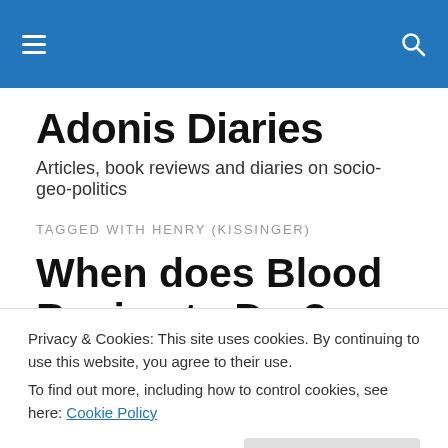Adonis Diaries [navigation bar with hamburger menu and search icon]
Adonis Diaries
Articles, book reviews and diaries on socio-geo-politics
TAGGED WITH HENRY (KISSINGER)
When does Blood Begins to Dry?
Privacy & Cookies: This site uses cookies. By continuing to use this website, you agree to their use.
To find out more, including how to control cookies, see here: Cookie Policy
Close and accept